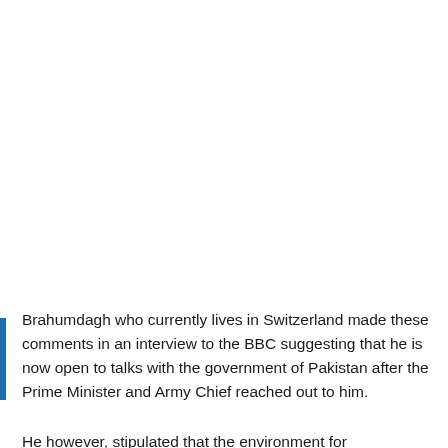Brahumdagh who currently lives in Switzerland made these comments in an interview to the BBC suggesting that he is now open to talks with the government of Pakistan after the Prime Minister and Army Chief reached out to him.
He however, stipulated that the environment for negotiations